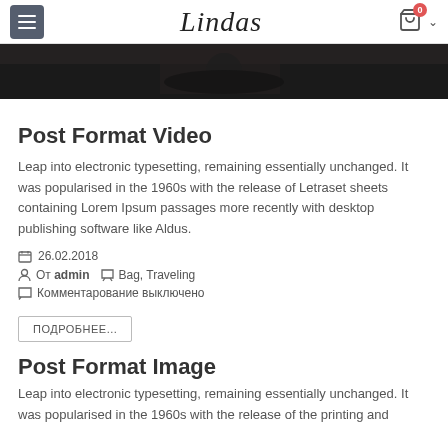Lindas — navigation header with hamburger menu and cart icon (0 items)
[Figure (photo): Dark cinematic hero image strip, partially visible at top of page]
Post Format Video
Leap into electronic typesetting, remaining essentially unchanged. It was popularised in the 1960s with the release of Letraset sheets containing Lorem Ipsum passages more recently with desktop publishing software like Aldus.
26.02.2018
От admin  Bag, Traveling
Комментарование выключено
ПОДРОБНЕЕ...
Post Format Image
Leap into electronic typesetting, remaining essentially unchanged. It was popularised in the 1960s with the release of the printing and...